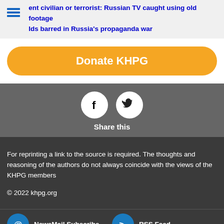ent civilian or terrorist: Russian TV caught using old footage
Ids barred in Russia's propaganda war
Donate KHPG
[Figure (infographic): Share icons: Facebook and Twitter circular white buttons on grey background with 'Share this' label]
For reprinting a link to the source is required. The thoughts and reasoning of the authors do not always coincide with the views of the KHPG members
© 2022 khpg.org
NewsMail Subscribe   RSS Feed
The mode of saving Internet traffic by reducing the size of images
Contrasting design theme (visually impaired)